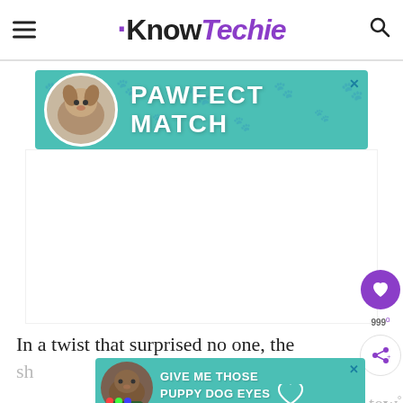KnowTechie
[Figure (illustration): Advertisement banner: PAWFECT MATCH with teal background, dog illustration, paw print pattern]
[Figure (illustration): Large white/blank advertisement space]
In a twist that surprised no one, the
[Figure (illustration): Advertisement banner: GIVE ME THOSE PUPPY DOG EYES with teal background, dog illustration]